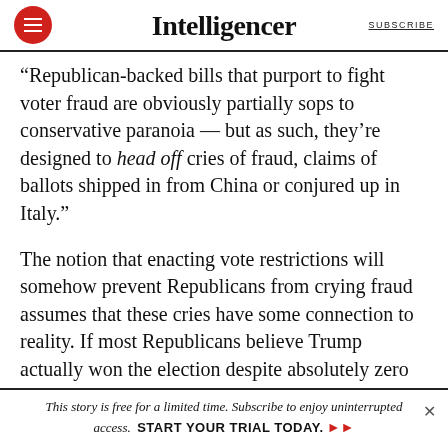Intelligencer | SUBSCRIBE
“Republican-backed bills that purport to fight voter fraud are obviously partially sops to conservative paranoia — but as such, they’re designed to head off cries of fraud, claims of ballots shipped in from China or conjured up in Italy.”
The notion that enacting vote restrictions will somehow prevent Republicans from crying fraud assumes that these cries have some connection to reality. If most Republicans believe Trump actually won the election despite absolutely zero evidence of
This story is free for a limited time. Subscribe to enjoy uninterrupted access. START YOUR TRIAL TODAY.